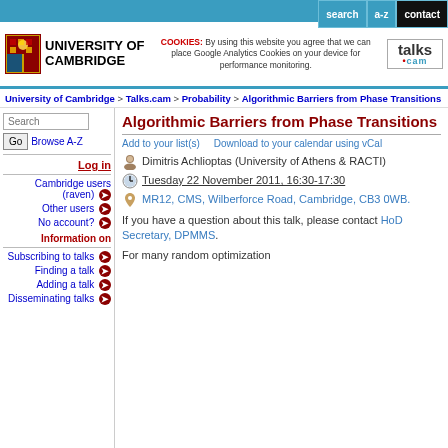search  a-z  contact
[Figure (logo): University of Cambridge coat of arms and name logo, talks.cam logo, cookies notice]
University of Cambridge > Talks.cam > Probability > Algorithmic Barriers from Phase Transitions
Algorithmic Barriers from Phase Transitions
Add to your list(s)   Download to your calendar using vCal
Dimitris Achlioptas (University of Athens & RACTI)
Tuesday 22 November 2011, 16:30-17:30
MR12, CMS, Wilberforce Road, Cambridge, CB3 0WB.
If you have a question about this talk, please contact HoD Secretary, DPMMS.
For many random optimization
Log in
Cambridge users (raven)
Other users
No account?
Information on
Subscribing to talks
Finding a talk
Adding a talk
Disseminating talks